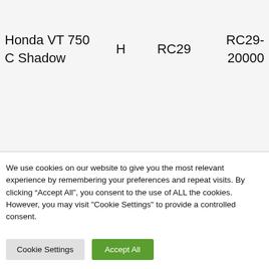| Honda VT 750 C Shadow | H | RC29 | RC29-20000 |
We use cookies on our website to give you the most relevant experience by remembering your preferences and repeat visits. By clicking “Accept All”, you consent to the use of ALL the cookies. However, you may visit "Cookie Settings" to provide a controlled consent.